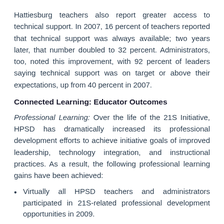Hattiesburg teachers also report greater access to technical support. In 2007, 16 percent of teachers reported that technical support was always available; two years later, that number doubled to 32 percent. Administrators, too, noted this improvement, with 92 percent of leaders saying technical support was on target or above their expectations, up from 40 percent in 2007.
Connected Learning: Educator Outcomes
Professional Learning: Over the life of the 21S Initiative, HPSD has dramatically increased its professional development efforts to achieve initiative goals of improved leadership, technology integration, and instructional practices. As a result, the following professional learning gains have been achieved:
Virtually all HPSD teachers and administrators participated in 21S-related professional development opportunities in 2009.
Professional development now occurs more often at the school sites enabling greater customization to specific teachers' needs.
The total number of hours of available professional